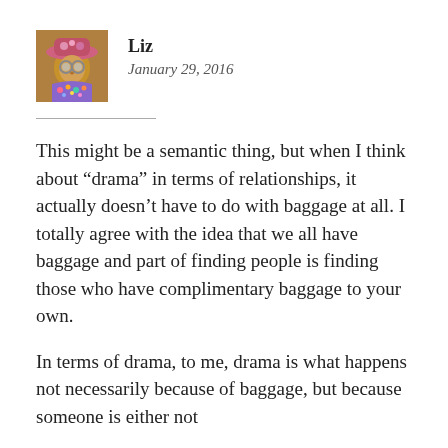[Figure (photo): Small square avatar photo of a decorated doll or figurine wearing a pink hat and colorful floral attire]
Liz
January 29, 2016
This might be a semantic thing, but when I think about “drama” in terms of relationships, it actually doesn’t have to do with baggage at all. I totally agree with the idea that we all have baggage and part of finding people is finding those who have complimentary baggage to your own.
In terms of drama, to me, drama is what happens not necessarily because of baggage, but because someone is either not